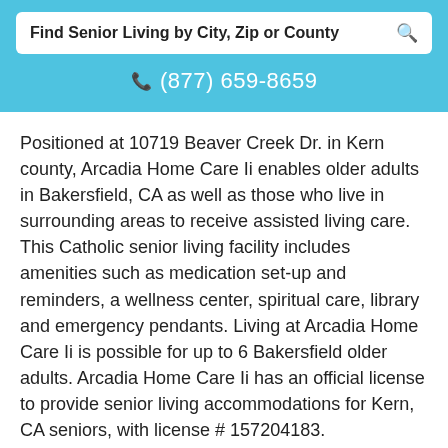Find Senior Living by City, Zip or County
(877) 659-8659
Positioned at 10719 Beaver Creek Dr. in Kern county, Arcadia Home Care Ii enables older adults in Bakersfield, CA as well as those who live in surrounding areas to receive assisted living care. This Catholic senior living facility includes amenities such as medication set-up and reminders, a wellness center, spiritual care, library and emergency pendants. Living at Arcadia Home Care Ii is possible for up to 6 Bakersfield older adults. Arcadia Home Care Ii has an official license to provide senior living accommodations for Kern, CA seniors, with license # 157204183.